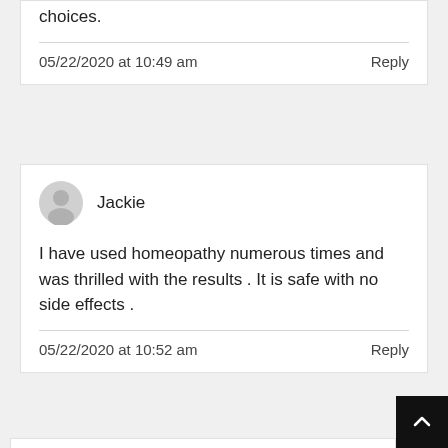choices.
05/22/2020 at 10:49 am
Reply
Jackie
I have used homeopathy numerous times and was thrilled with the results . It is safe with no side effects .
05/22/2020 at 10:52 am
Reply